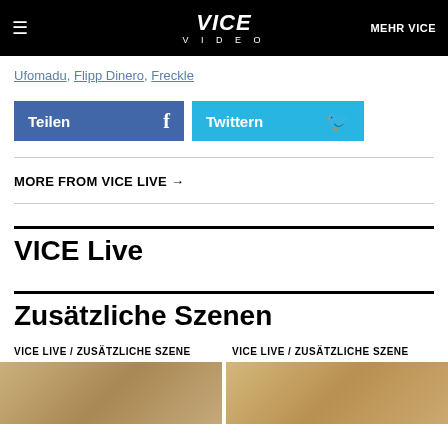≡  VICE VIDEO  MEHR VICE
Ufomadu, Flipp Dinero, Freckle
[Figure (infographic): Facebook share button labeled 'Teilen' with Facebook icon]
[Figure (infographic): Twitter share button labeled 'Twittern' with Twitter bird icon]
MORE FROM VICE LIVE →
VICE Live
Zusätzliche Szenen
VICE LIVE / ZUSÄTZLICHE SZENE
VICE LIVE / ZUSÄTZLICHE SZENE
[Figure (photo): Thumbnail image of an interior room scene]
[Figure (photo): Thumbnail image of an interior room scene]